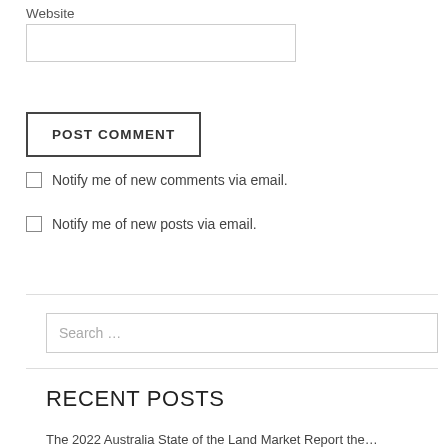Website
POST COMMENT
Notify me of new comments via email.
Notify me of new posts via email.
Search …
RECENT POSTS
The 2022 Australia State of the Land Market Report the…